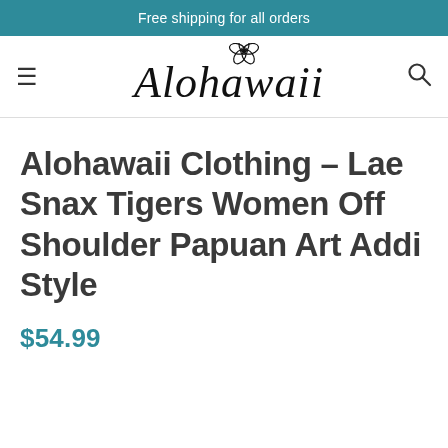Free shipping for all orders
[Figure (logo): Alohawaii script logo with hibiscus flower]
Alohawaii Clothing – Lae Snax Tigers Women Off Shoulder Papuan Art Addi Style
$54.99